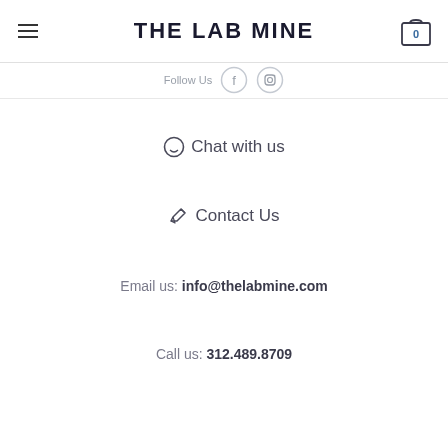THE LAB MINE
Follow Us
Chat with us
Contact Us
Email us: info@thelabmine.com
Call us: 312.489.8709